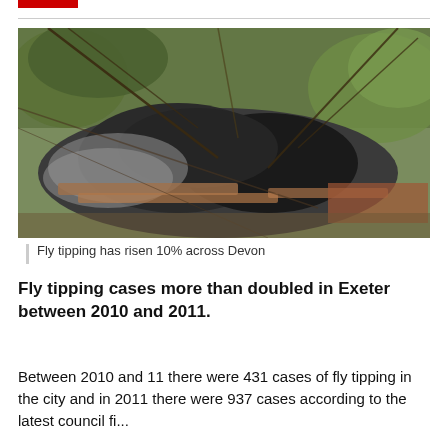[Figure (photo): Pile of fly-tipped waste including black bin bags, wood and debris dumped in a wooded area]
Fly tipping has risen 10% across Devon
Fly tipping cases more than doubled in Exeter between 2010 and 2011.
Between 2010 and 11 there were 431 cases of fly tipping in the city and in 2011 there were 937 cases according to the latest council figures